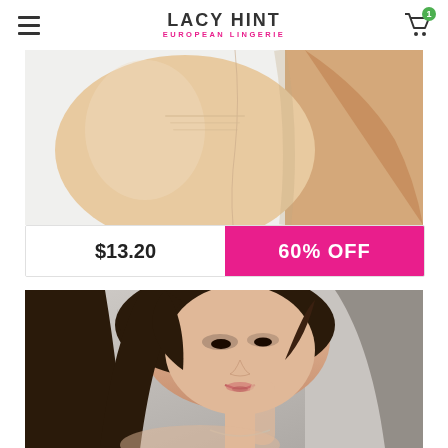LACY HINT EUROPEAN LINGERIE
[Figure (photo): Close-up of model's legs and torso wearing nude/beige lingerie or hosiery against white background]
$13.20   60% OFF
[Figure (photo): Portrait of a brunette female model looking upward with hand near face, wearing a necklace, against a light grey background — lingerie product page image]